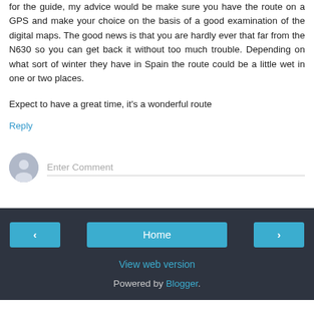for the guide, my advice would be make sure you have the route on a GPS and make your choice on the basis of a good examination of the digital maps. The good news is that you are hardly ever that far from the N630 so you can get back it without too much trouble. Depending on what sort of winter they have in Spain the route could be a little wet in one or two places.
Expect to have a great time, it's a wonderful route
Reply
Enter Comment
Home | View web version | Powered by Blogger.